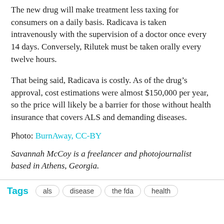The new drug will make treatment less taxing for consumers on a daily basis. Radicava is taken intravenously with the supervision of a doctor once every 14 days. Conversely, Rilutek must be taken orally every twelve hours.
That being said, Radicava is costly. As of the drug’s approval, cost estimations were almost $150,000 per year, so the price will likely be a barrier for those without health insurance that covers ALS and demanding diseases.
Photo: BurnAway, CC-BY
Savannah McCoy is a freelancer and photojournalist based in Athens, Georgia.
Tags  als  disease  the fda  health